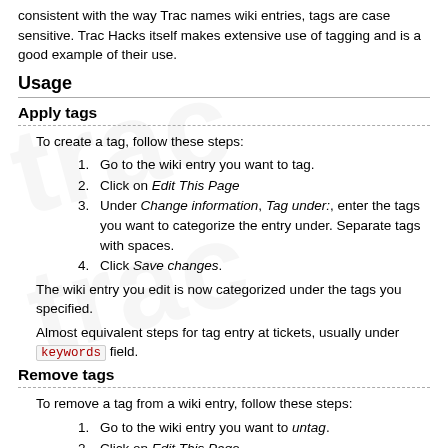consistent with the way Trac names wiki entries, tags are case sensitive. Trac Hacks itself makes extensive use of tagging and is a good example of their use.
Usage
Apply tags
To create a tag, follow these steps:
1. Go to the wiki entry you want to tag.
2. Click on Edit This Page
3. Under Change information, Tag under:, enter the tags you want to categorize the entry under. Separate tags with spaces.
4. Click Save changes.
The wiki entry you edit is now categorized under the tags you specified.
Almost equivalent steps for tag entry at tickets, usually under keywords field.
Remove tags
To remove a tag from a wiki entry, follow these steps:
1. Go to the wiki entry you want to untag.
2. Click on Edit This Page